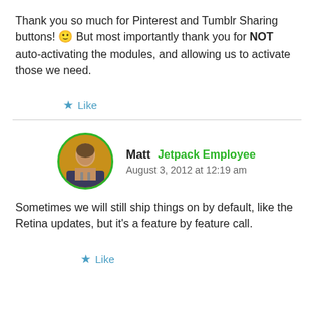Thank you so much for Pinterest and Tumblr Sharing buttons! 🙂 But most importantly thank you for NOT auto-activating the modules, and allowing us to activate those we need.
★ Like
Matt  Jetpack Employee
August 3, 2012 at 12:19 am
Sometimes we will still ship things on by default, like the Retina updates, but it's a feature by feature call.
★ Like